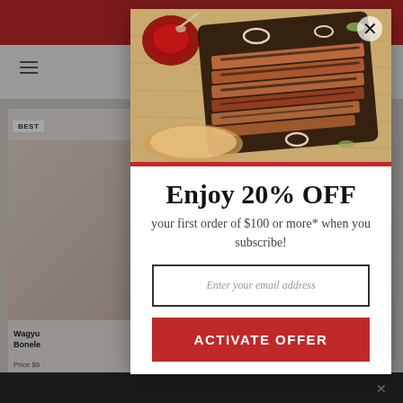[Figure (screenshot): Website background with red top bar, navigation, and product listing for wagyu beef]
[Figure (photo): Overhead photo of sliced smoked brisket on cutting board with BBQ sauce, pickled peppers, and onion rings]
Enjoy 20% OFF
your first order of $100 or more* when you subscribe!
Enter your email address
ACTIVATE OFFER